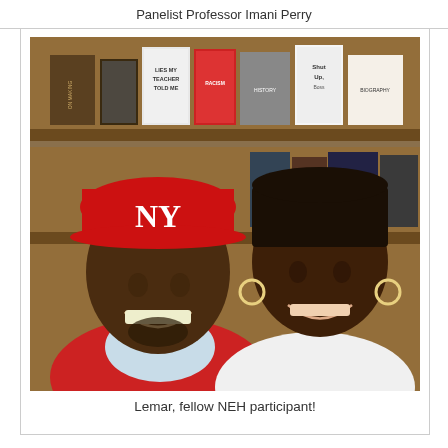Panelist Professor Imani Perry
[Figure (photo): Two people posing for a selfie in front of a bookshelf filled with books. The man on the left is wearing a red NY Yankees baseball cap and a red jacket over a light blue shirt, smiling. The woman on the right has braided hair, hoop earrings, and is wearing a white top, also smiling.]
Lemar, fellow NEH participant!